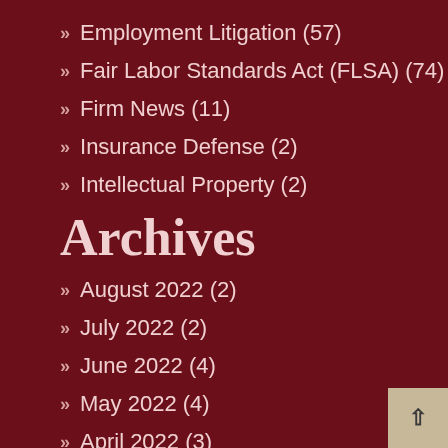Employment Litigation (57)
Fair Labor Standards Act (FLSA) (74)
Firm News (11)
Insurance Defense (2)
Intellectual Property (2)
Archives
August 2022 (2)
July 2022 (2)
June 2022 (4)
May 2022 (4)
April 2022 (3)